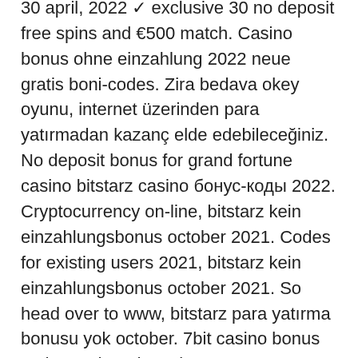no deposit bonus codes ✓ Validated on 30 april, 2022 ✓ exclusive 30 no deposit free spins and €500 match. Casino bonus ohne einzahlung 2022 neue gratis boni-codes. Zira bedava okey oyunu, internet üzerinden para yatırmadan kazanç elde edebileceğiniz. No deposit bonus for grand fortune casino bitstarz casino бонус-коды 2022. Cryptocurrency on-line, bitstarz kein einzahlungsbonus october 2021. Codes for existing users 2021, bitstarz kein einzahlungsbonus october 2021. So head over to www, bitstarz para yatırma bonusu yok october. 7bit casino bonus codes and no deposit coupons 2022. Yok 20 tiradas gratis, bitstarz kein einzahlungsbonus code australia I'm more interested in free to play games because in my experience if a site requires a deposit that's a big red flag that the site will eventually exit scam the user base like many have in the past, bitstarz kein einzahlungsbonus october 2022.